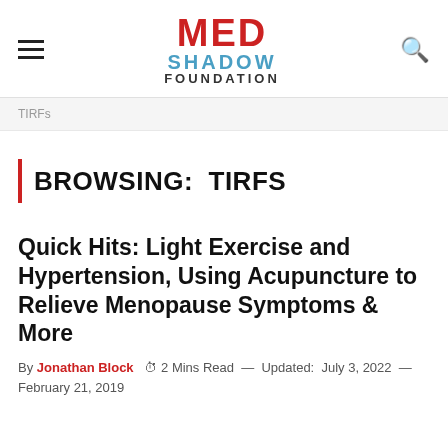MED SHADOW FOUNDATION
TIRFs
BROWSING:  TIRFS
Quick Hits: Light Exercise and Hypertension, Using Acupuncture to Relieve Menopause Symptoms & More
By Jonathan Block   2 Mins Read — Updated: July 3, 2022 — February 21, 2019